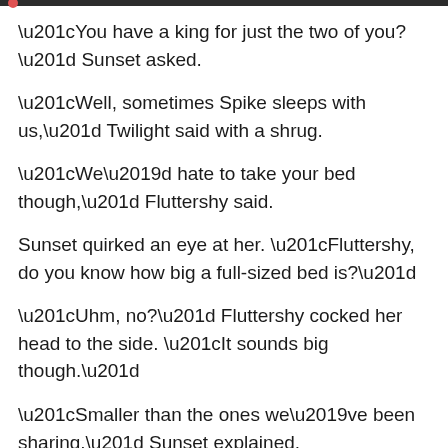“You have a king for just the two of you?” Sunset asked.
“Well, sometimes Spike sleeps with us,” Twilight said with a shrug.
“We’d hate to take your bed though,” Fluttershy said.
Sunset quirked an eye at her. “Fluttershy, do you know how big a full-sized bed is?”
“Uhm, no?” Fluttershy cocked her head to the side. “It sounds big though.”
“Smaller than the ones we’ve been sharing,” Sunset explained.
“Oh.”
Twilight said something “I don’t think…” to her...